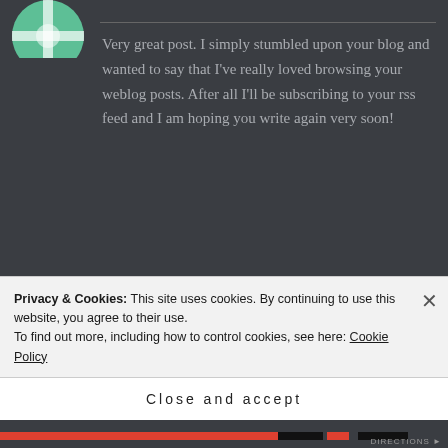[Figure (illustration): Circular avatar with green/white cross pattern, partially cropped at top]
Very great post. I simply stumbled upon your blog and wanted to say that I've really loved browsing your weblog posts. After all I'll be subscribing to your rss feed and I am hoping you write again very soon!
[Figure (illustration): Circular avatar showing silhouettes of people on orange/brown background with text 'Going the extra']
UNIVERSALLY FRIENDLY says:
May 1, 2014 at 12:18 PM
Privacy & Cookies: This site uses cookies. By continuing to use this website, you agree to their use.
To find out more, including how to control cookies, see here: Cookie Policy
Close and accept